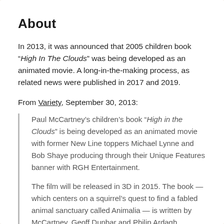About
In 2013, it was announced that 2005 children book “High In The Clouds” was being developed as an animated movie. A long-in-the-making process, as related news were published in 2017 and 2019.
From Variety, September 30, 2013:
Paul McCartney’s children’s book “High in the Clouds” is being developed as an animated movie with former New Line toppers Michael Lynne and Bob Shaye producing through their Unique Features banner with RGH Entertainment.
The film will be released in 3D in 2015. The book — which centers on a squirrel’s quest to find a fabled animal sanctuary called Animalia — is written by McCartney, Geoff Dunbar and Philip Ardagh.